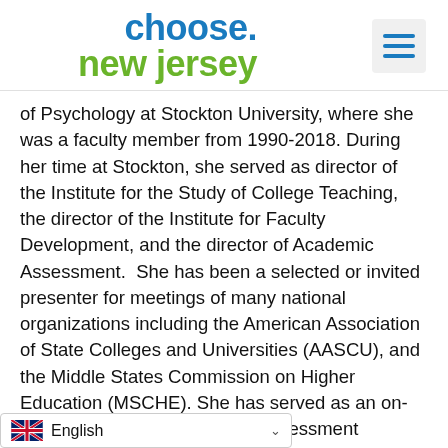[Figure (logo): Choose New Jersey logo with hamburger menu icon]
of Psychology at Stockton University, where she was a faculty member from 1990-2018. During her time at Stockton, she served as director of the Institute for the Study of College Teaching, the director of the Institute for Faculty Development, and the director of Academic Assessment.  She has been a selected or invited presenter for meetings of many national organizations including the American Association of State Colleges and Universities (AASCU), and the Middle States Commission on Higher Education (MSCHE). She has served as an on-site faculty development and assessment consultant to the Azim Premji University in Bangalore, India.  She holds a Ph.D. in Educational Psychology from Temple University, an M.S. in Educational Psychology from Temple University, and a B.S. in Chemistry and Applied Chemistry from the U[niversity of the West Indi]es in Mona, Jamaica.